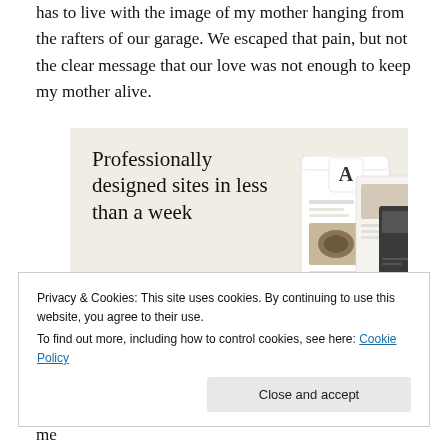has to live with the image of my mother hanging from the rafters of our garage. We escaped that pain, but not the clear message that our love was not enough to keep my mother alive.
[Figure (screenshot): Advertisement: 'Professionally designed sites in less than a week' with a green 'Explore options' button and mockup screenshots of website designs on a beige background.]
Privacy & Cookies: This site uses cookies. By continuing to use this website, you agree to their use.
To find out more, including how to control cookies, see here: Cookie Policy
new levels of understanding have emerged. Don't get me